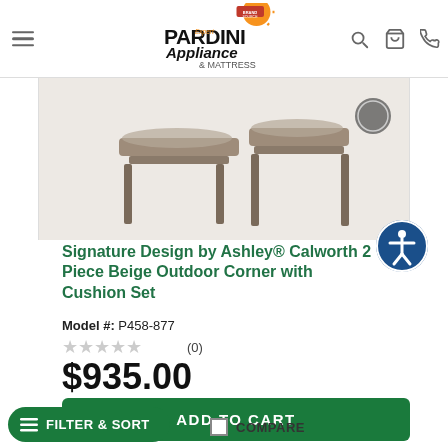Pardini Appliance & Mattress — navigation header
[Figure (photo): Partial product image of an outdoor corner furniture piece, cropped at top]
Signature Design by Ashley® Calworth 2 Piece Beige Outdoor Corner with Cushion Set
Model #: P458-877
★★★★★ (0)
$935.00
ADD TO CART
FILTER & SORT
COMPARE